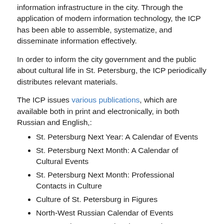information infrastructure in the city. Through the application of modern information technology, the ICP has been able to assemble, systematize, and disseminate information effectively.
In order to inform the city government and the public about cultural life in St. Petersburg, the ICP periodically distributes relevant materials.
The ICP issues various publications, which are available both in print and electronically, in both Russian and English,:
St. Petersburg Next Year: A Calendar of Events
St. Petersburg Next Month: A Calendar of Cultural Events
St. Petersburg Next Month: Professional Contacts in Culture
Culture of St. Petersburg in Figures
North-West Russian Calendar of Events
St. Petersburg International Economic Forum. Culture & Events
Exhibitions in St. Petersburg Museums
Saint Petersburg Cultural Space